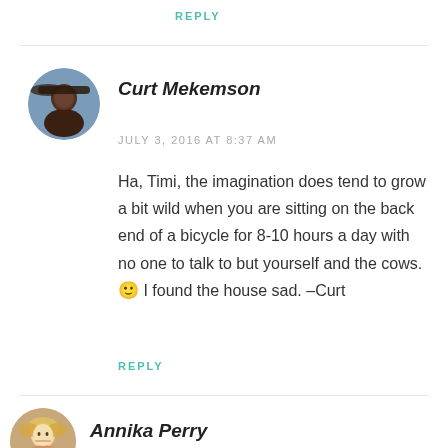REPLY
Curt Mekemson
JULY 3, 2016 AT 8:37 AM
Ha, Timi, the imagination does tend to grow a bit wild when you are sitting on the back end of a bicycle for 8-10 hours a day with no one to talk to but yourself and the cows. 🙂 I found the house sad. –Curt
REPLY
Annika Perry